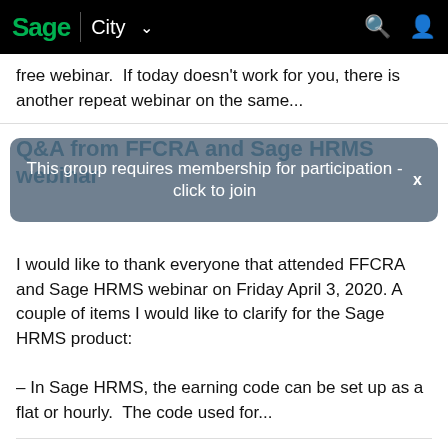Sage | City
free webinar.  If today doesn't work for you, there is another repeat webinar on the same...
Q&A from FFCRA and Sage HRMS webinar
[Figure (screenshot): Modal overlay dialog: 'This group requires membership for participation - click to join' with an X close button]
I would like to thank everyone that attended FFCRA and Sage HRMS webinar on Friday April 3, 2020. A couple of items I would like to clarify for the Sage HRMS product:

- In Sage HRMS, the earning code can be set up as a flat or hourly.  The code used for...
Reminder: Free SAP Crystal Reports for Beginners webinar is tomorrow
SAP Crystal Reports for Sage HRMS connects you to data above and beyond the standard reports included with Sage HRMS by allowing you to create powerful, formatted reports. By doing this and learning...